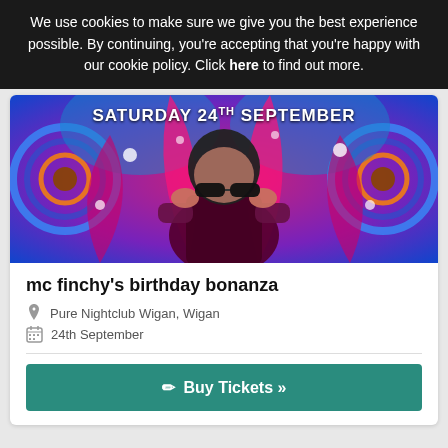We use cookies to make sure we give you the best experience possible. By continuing, you're accepting that you're happy with our cookie policy. Click here to find out more.
[Figure (photo): Event promotional image showing a DJ or performer in a pink/magenta jacket holding sunglasses, with colorful psychedelic background art. Text overlay reads 'SATURDAY 24TH SEPTEMBER']
mc finchy's birthday bonanza
Pure Nightclub Wigan, Wigan
24th September